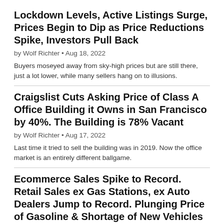Lockdown Levels, Active Listings Surge, Prices Begin to Dip as Price Reductions Spike, Investors Pull Back
by Wolf Richter • Aug 18, 2022
Buyers moseyed away from sky-high prices but are still there, just a lot lower, while many sellers hang on to illusions.
Craigslist Cuts Asking Price of Class A Office Building it Owns in San Francisco by 40%. The Building is 78% Vacant
by Wolf Richter • Aug 17, 2022
Last time it tried to sell the building was in 2019. Now the office market is an entirely different ballgame.
Ecommerce Sales Spike to Record. Retail Sales ex Gas Stations, ex Auto Dealers Jump to Record. Plunging Price of Gasoline & Shortage of New Vehicles Dog those Retailers
by Wolf Richter • Aug 17, 2022